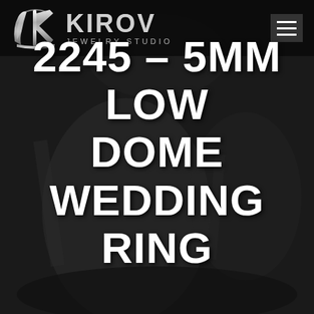[Figure (logo): Kirov Jewelry Studio logo with stylized KK monogram icon and metallic text reading KIROV JEWELRY STUDIO]
[Figure (illustration): Dark background with blurred photographic scene, depicting a workshop or studio environment in dark tones]
2245 – 5MM LOW DOME WEDDING RING